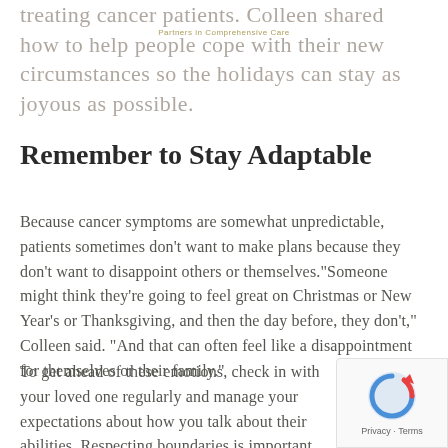Partners in Comprehensive Care
treating cancer patients. Colleen shared how to help people cope with their new circumstances so the holidays can stay as joyous as possible.
Remember to Stay Adaptable
Because cancer symptoms are somewhat unpredictable, patients sometimes don't want to make plans because they don't want to disappoint others or themselves.“Someone might think they’re going to feel great on Christmas or New Year’s or Thanksgiving, and then the day before, they don’t,” Colleen said. “And that can often feel like a disappointment for themselves or their family.”
To get ahead of these emotions, check in with your loved one regularly and manage your expectations about how you talk about their abilities. Respecting boundaries is important at this delicate point in their lives, and you should